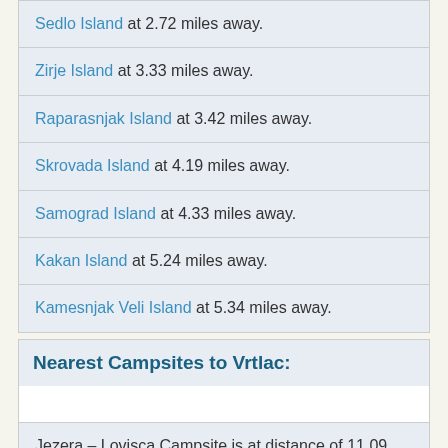Sedlo Island at 2.72 miles away.
Zirje Island at 3.33 miles away.
Raparasnjak Island at 3.42 miles away.
Skrovada Island at 4.19 miles away.
Samograd Island at 4.33 miles away.
Kakan Island at 5.24 miles away.
Kamesnjak Veli Island at 5.34 miles away.
Nearest Campsites to Vrtlac:
Jezera – Lovisca Campsite is at distance of 11.09 miles